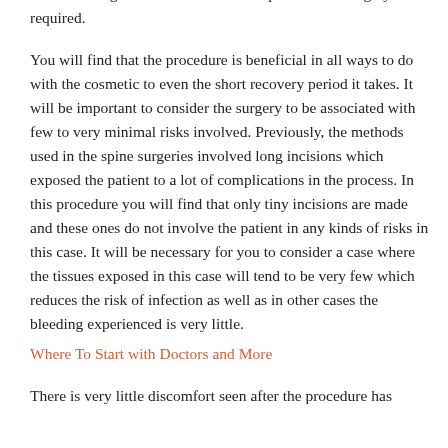allow the surgeon see too well how to perform the surgery required.
You will find that the procedure is beneficial in all ways to do with the cosmetic to even the short recovery period it takes. It will be important to consider the surgery to be associated with few to very minimal risks involved. Previously, the methods used in the spine surgeries involved long incisions which exposed the patient to a lot of complications in the process. In this procedure you will find that only tiny incisions are made and these ones do not involve the patient in any kinds of risks in this case. It will be necessary for you to consider a case where the tissues exposed in this case will tend to be very few which reduces the risk of infection as well as in other cases the bleeding experienced is very little.
Where To Start with Doctors and More
There is very little discomfort seen after the procedure has